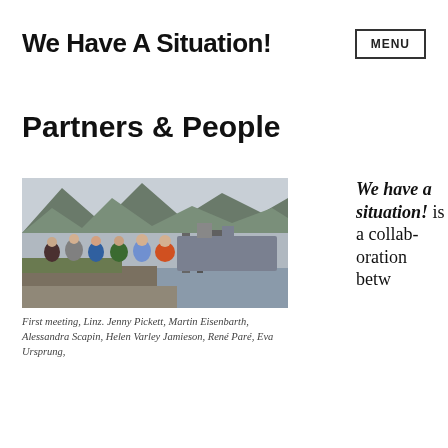We Have A Situation!
Partners & People
[Figure (photo): Group of six people standing outdoors near a harbor/dock with mountains and boats in the background. Location: Linz.]
First meeting, Linz. Jenny Pickett, Martin Eisenbarth, Alessandra Scapin, Helen Varley Jamieson, René Paré, Eva Ursprung,
We have a situation! is a collaboration betw…